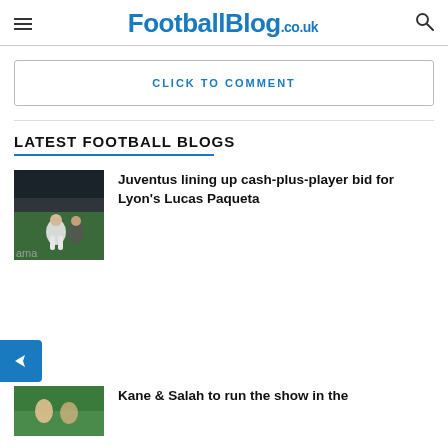FootballBlog.co.uk
CLICK TO COMMENT
LATEST FOOTBALL BLOGS
[Figure (photo): Football players on a pitch, dark background with stadium lighting]
Juventus lining up cash-plus-player bid for Lyon’s Lucas Paqueta
[Figure (photo): Football players on green pitch, partially visible]
Kane & Salah to run the show in the